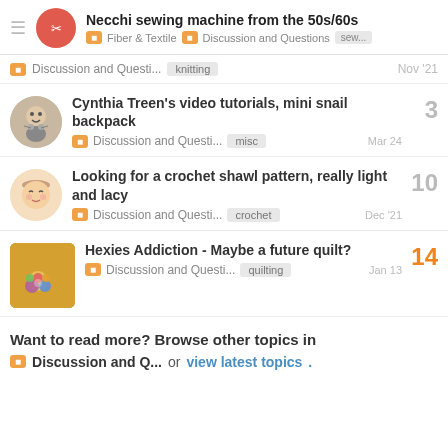Necchi sewing machine from the 50s/60s — Fiber & Textile | Discussion and Questions | sew...
Discussion and Questi... knitting Nov '21
Cynthia Treen's video tutorials, mini snail backpack — Discussion and Questi... misc Mar 24 — 3 replies
Looking for a crochet shawl pattern, really light and lacy — Discussion and Questi... crochet Dec '21 — 10 replies
Hexies Addiction - Maybe a future quilt? — Discussion and Questi... quilting Jan 13 — 14 replies
Want to read more? Browse other topics in Discussion and Q... or view latest topics.